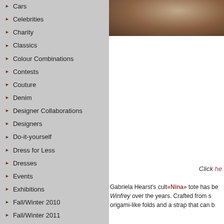Cars
Celebrities
Charity
Classics
Colour Combinations
Contests
Couture
Denim
Designer Collaborations
Designers
Do-it-yourself
Dress for Less
Dresses
Events
Exhibitions
Fall/Winter 2010
Fall/Winter 2011
Fall/Winter 2012
Fall/Winter 2013
Fall/Winter 2014
Fall/Winter 2015
Fall/Winter 2016
Fall/Winter 2017
[Figure (photo): Partial photo of a person, cropped, visible at top right of page]
Click here
Gabriela Hearst's cult «Nina» tote has be... Winfrey over the years. Crafted from s... origami-like folds and a strap that can b...